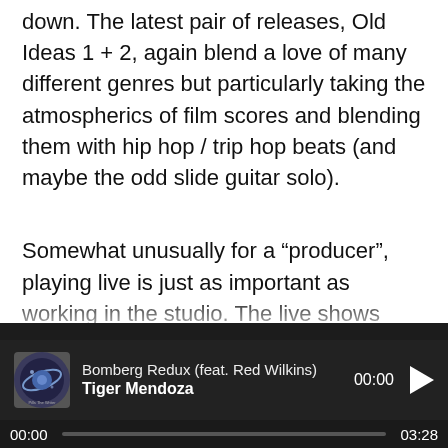down. The latest pair of releases, Old Ideas 1 + 2, again blend a love of many different genres but particularly taking the atmospherics of film scores and blending them with hip hop / trip hop beats (and maybe the odd slide guitar solo).
Somewhat unusually for a “producer”, playing live is just as important as working in the studio. The live shows vary from solo shows to more full band line ups
[Figure (screenshot): Music player bar showing track 'Bomberg Redux (feat. Red Wilkins)' by Tiger Mendoza, time 00:00, with album art, play button, and progress bar showing 00:00 to 03:28]